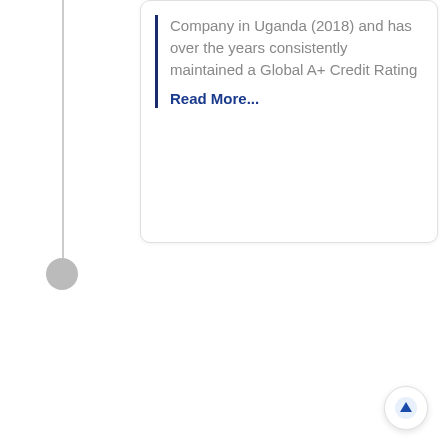Company in Uganda (2018) and has over the years consistently maintained a Global A+ Credit Rating
Read More...
[Figure (other): Back to top arrow button, circular with upward arrow icon]